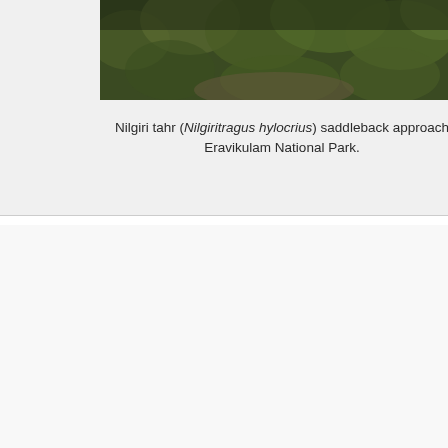[Figure (photo): Partial view of Nilgiri tahr in natural habitat, top portion of image showing dense green foliage background]
Nilgiri tahr (Nilgiritragus hylocrius) saddleback approach Eravikulam National Park.
[Figure (photo): Close-up portrait of a female Nilgiri tahr with curved horns, gray-brown fur, eating green grass, with blurred green background]
[Figure (photo): Close-up portrait of a male Nilgiri tahr (saddleback) with prominent dark ridged horns, dark fur with lighter muzzle markings, green leafy background. Watermark: © Jon Lockwood 2014, www.HighRangePhotography.com]